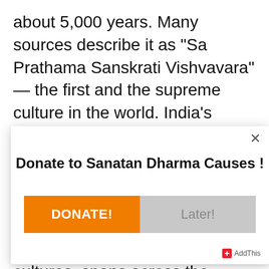about 5,000 years. Many sources describe it as "Sa Prathama Sanskrati Vishvavara" — the first and the supreme culture in the world. India's languages, religions, dance, music, architecture, food, and customs differ from place to place within the country. The Indian culture, often labeled as an amalgamation of several cultures, spans across the Indian subcontinent and has been influenced by a
[Figure (screenshot): A modal dialog box overlaid on the page with title 'Donate to Sanatan Dharma Causes !', an X close button, and two buttons: 'DONATE!' (orange) and 'Later!' (gray). An AddThis badge appears in the bottom right.]